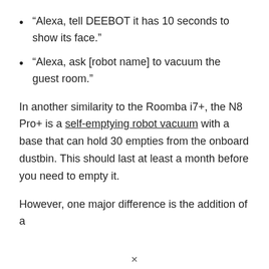“Alexa, tell DEEBOT it has 10 seconds to show its face.”
“Alexa, ask [robot name] to vacuum the guest room.”
In another similarity to the Roomba i7+, the N8 Pro+ is a self-emptying robot vacuum with a base that can hold 30 empties from the onboard dustbin. This should last at least a month before you need to empty it.
However, one major difference is the addition of a